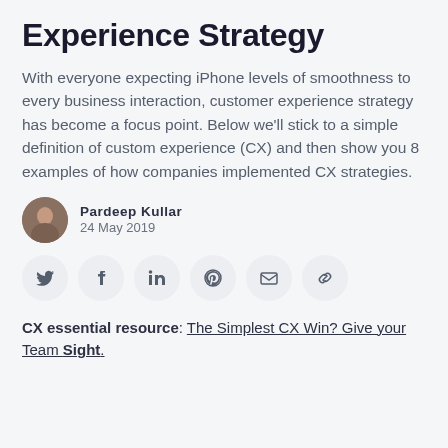Experience Strategy
With everyone expecting iPhone levels of smoothness to every business interaction, customer experience strategy has become a focus point. Below we'll stick to a simple definition of custom experience (CX) and then show you 8 examples of how companies implemented CX strategies.
Pardeep Kullar
24 May 2019
[Figure (infographic): Row of 6 social sharing icon buttons (Twitter, Facebook, LinkedIn, Pinterest, Email, Link) each in a light grey circle]
CX essential resource: The Simplest CX Win? Give your Team Sight.